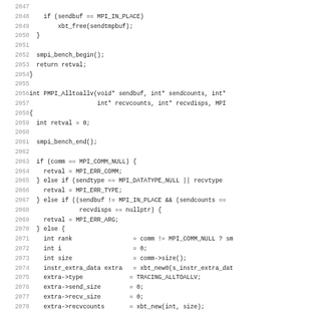[Figure (screenshot): Source code screenshot showing C++ code lines 2047-2078, including MPI_Alltoallv function implementation with conditional checks and variable declarations.]